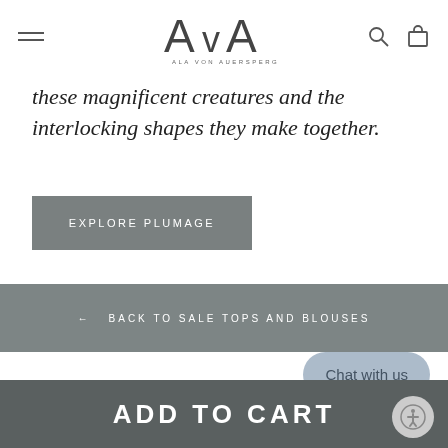Ala von Auersperg
these magnificent creatures and the interlocking shapes they make together.
EXPLORE PLUMAGE
← BACK TO SALE TOPS AND BLOUSES
Chat with us
ADD TO CART